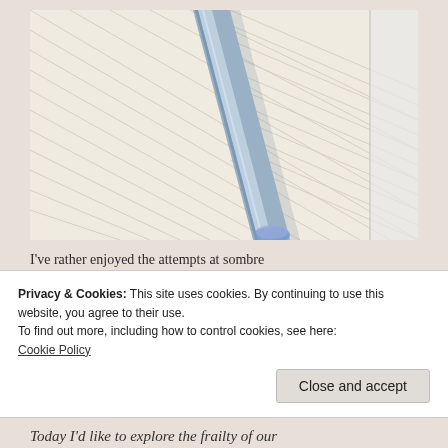[Figure (photo): Close-up photo of a metallic cylindrical rod or pen resting diagonally on lined notebook paper, with a blue cap/tip visible at the bottom of the rod.]
I've rather enjoyed the attempts at sombre
Privacy & Cookies: This site uses cookies. By continuing to use this website, you agree to their use.
To find out more, including how to control cookies, see here:
Cookie Policy
Close and accept
Today I'd like to explore the frailty of our